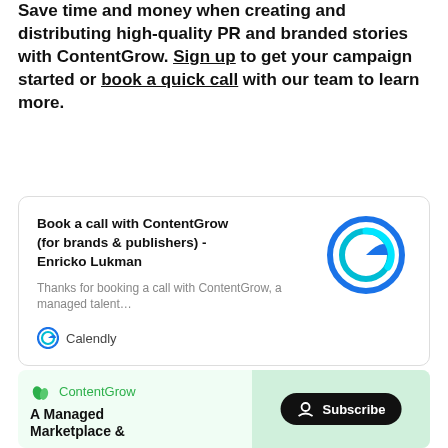Save time and money when creating and distributing high-quality PR and branded stories with ContentGrow. Sign up to get your campaign started or book a quick call with our team to learn more.
[Figure (screenshot): Calendly booking card for ContentGrow - shows title 'Book a call with ContentGrow (for brands & publishers) - Enricko Lukman', description 'Thanks for booking a call with ContentGrow, a managed talent...', ContentGrow circular logo, and Calendly branding at the bottom.]
[Figure (infographic): ContentGrow banner with leaf logo, green 'ContentGrow' text, bold heading 'A Managed Marketplace &', laptop screenshot, and Subscribe pill button.]